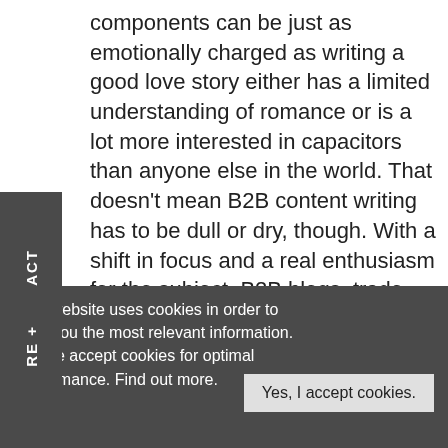components can be just as emotionally charged as writing a good love story either has a limited understanding of romance or is a lot more interested in capacitors than anyone else in the world. That doesn't mean B2B content writing has to be dull or dry, though. With a shift in focus and a real enthusiasm for the subject, B2B blogs, trade journal articles and industry newsletters benefit from lively writing too.
Here are some of the ways a capable writer can turn plain content into engaging writing:
This website uses cookies in order to offer you the most relevant information. Please accept cookies for optimal performance. Find out more.